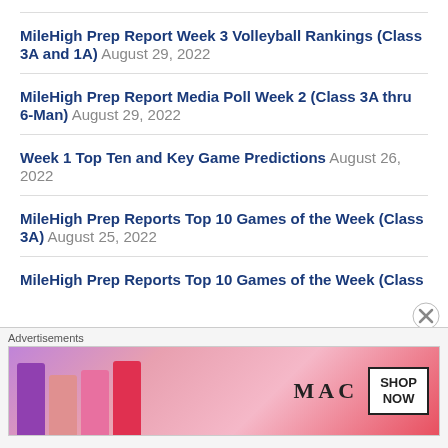MileHigh Prep Report Week 3 Volleyball Rankings (Class 3A and 1A) August 29, 2022
MileHigh Prep Report Media Poll Week 2 (Class 3A thru 6-Man) August 29, 2022
Week 1 Top Ten and Key Game Predictions August 26, 2022
MileHigh Prep Reports Top 10 Games of the Week (Class 3A) August 25, 2022
MileHigh Prep Reports Top 10 Games of the Week (Class
[Figure (other): MAC cosmetics advertisement banner with lipsticks and SHOP NOW button]
Advertisements